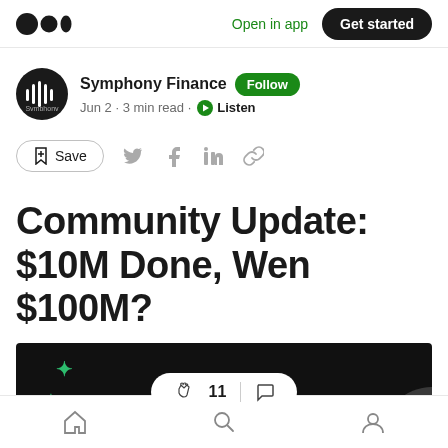Open in app  Get started
Symphony Finance · Follow · Jun 2 · 3 min read · Listen
Save
Community Update: $10M Done, Wen $100M?
[Figure (screenshot): Dark banner image with sparkle icons and a clap reaction bar showing 11 claps and a comment icon]
Home  Search  Profile